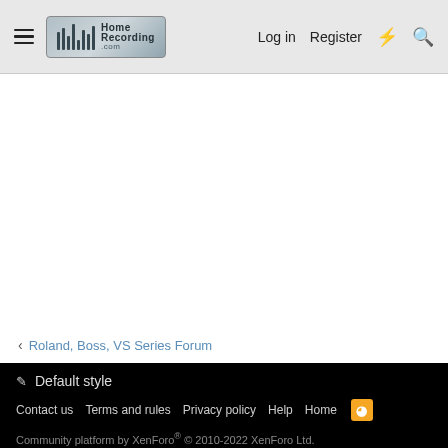HomeRecording.com — Log in | Register
Roland, Boss, VS Series Forum
Default style | Contact us | Terms and rules | Privacy policy | Help | Home | Community platform by XenForo © 2010-2022 XenForo Ltd.